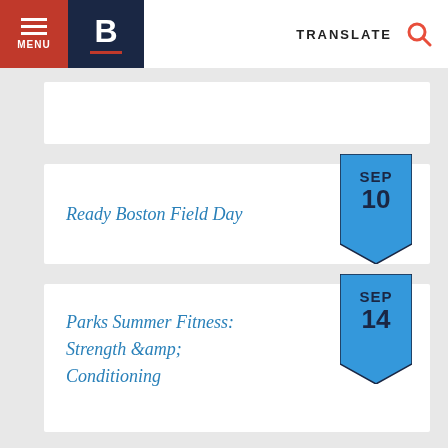MENU | B | TRANSLATE
Ready Boston Field Day
SEP 10
Parks Summer Fitness: Strength &amp; Conditioning
SEP 14